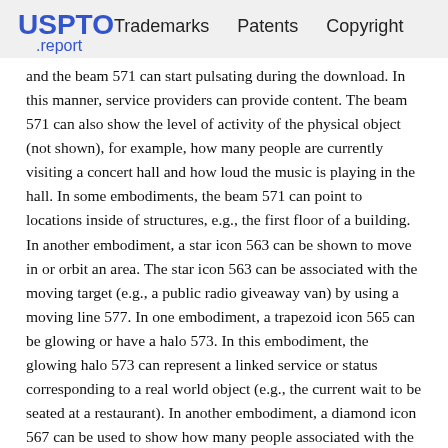USPTO .report   Trademarks   Patents   Copyright
and the beam 571 can start pulsating during the download. In this manner, service providers can provide content. The beam 571 can also show the level of activity of the physical object (not shown), for example, how many people are currently visiting a concert hall and how loud the music is playing in the hall. In some embodiments, the beam 571 can point to locations inside of structures, e.g., the first floor of a building. In another embodiment, a star icon 563 can be shown to move in or orbit an area. The star icon 563 can be associated with the moving target (e.g., a public radio giveaway van) by using a moving line 577. In one embodiment, a trapezoid icon 565 can be glowing or have a halo 573. In this embodiment, the glowing halo 573 can represent a linked service or status corresponding to a real world object (e.g., the current wait to be seated at a restaurant). In another embodiment, a diamond icon 567 can be used to show how many people associated with the user (e.g., friends) surrounding the physical environment have interest towards an event (e.g., a festival associated with the diamond icon 567). Lines 575 can point from